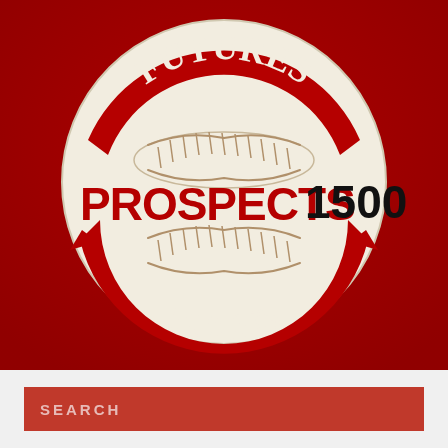[Figure (logo): Futures Focus Prospects 1500 logo: a circular badge on a red fabric background. The circle has a cream/off-white background with two red curved banner ribbons — one at the top reading 'FUTURES' in white serif text, and one at the bottom reading 'FOCUS' in white serif text. In the center is a baseball graphic with stitching lines, and overlaid text reads 'PROSPECTS' in bold red and '1500' in bold black.]
SEARCH